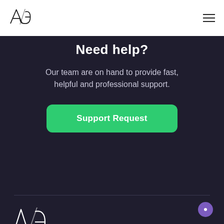AG logo and navigation hamburger menu
Need help?
Our team are on hand to provide fast, helpful and professional support.
[Figure (other): Green button labeled 'Support Request']
[Figure (logo): AG logo in footer area]
Products
Plugins
Recu...